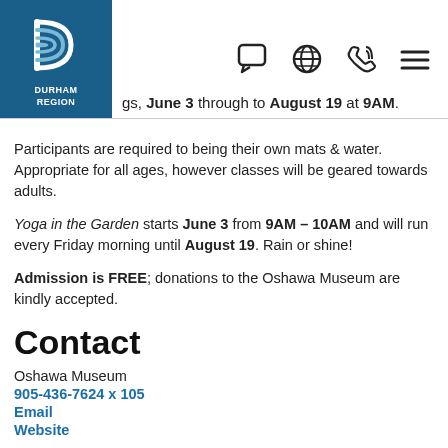[Figure (logo): Durham Region logo — blue box with stylized D and text DURHAM REGION]
gs, June 3 through to August 19 at 9AM.
Participants are required to being their own mats & water. Appropriate for all ages, however classes will be geared towards adults.
Yoga in the Garden starts June 3 from 9AM – 10AM and will run every Friday morning until August 19. Rain or shine!
Admission is FREE; donations to the Oshawa Museum are kindly accepted.
Contact
Oshawa Museum
905-436-7624 x 105
Email
Website
Upcoming Dates: